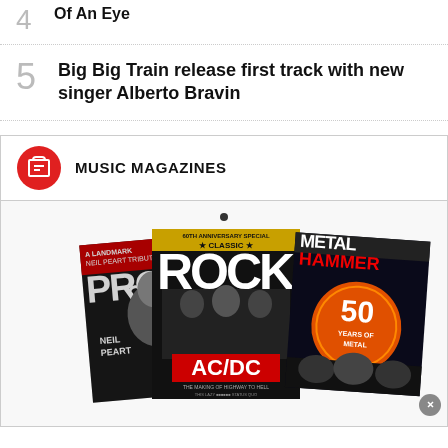4 [partial title] Of An Eye
5 Big Big Train release first track with new singer Alberto Bravin
MUSIC MAGAZINES
[Figure (photo): Three overlapping music magazine covers: Prog (featuring Neil Peart), Classic Rock (featuring AC/DC - Highway To Hell anniversary), and Metal Hammer (50 Years of Metal special)]